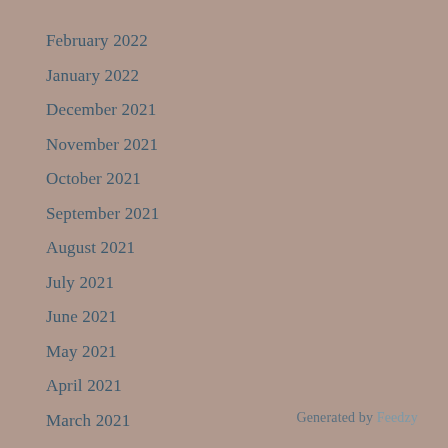February 2022
January 2022
December 2021
November 2021
October 2021
September 2021
August 2021
July 2021
June 2021
May 2021
April 2021
March 2021
Generated by Feedzy